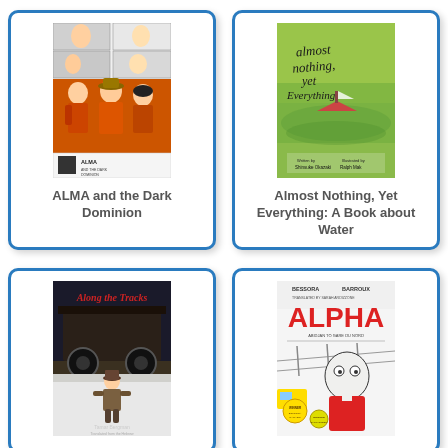[Figure (illustration): Book cover of ALMA and the Dark Dominion — manga-style illustration with children in orange jackets, black and white comic panels at top]
ALMA and the Dark Dominion
[Figure (illustration): Book cover of Almost Nothing, Yet Everything: A Book about Water — green watercolor background with handwritten script title and a small boat]
Almost Nothing, Yet Everything: A Book about Water
[Figure (illustration): Book cover of Along the Tracks — dark illustration of a boy in winter, standing near train tracks, by Tamar Bergman]
[Figure (illustration): Book cover of ALPHA: Abidjan to Gare du Nord — graphic novel cover with bold red ALPHA text and cartoon character by Bessora & Barroux]